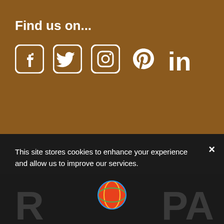Find us on...
[Figure (illustration): Social media icons: Facebook, Twitter, Instagram, Pinterest, LinkedIn — white icons on brown background]
This site stores cookies to enhance your experience and allow us to improve our services.
› Privacy Preferences
I Agree
[Figure (logo): Partial logo showing letters R and PA with a colorful globe/ball icon in the center, on dark background]